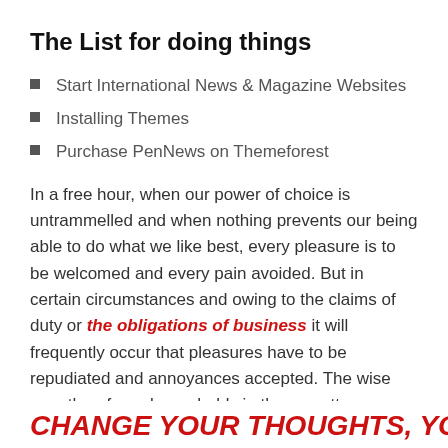The List for doing things
Start International News & Magazine Websites
Installing Themes
Purchase PenNews on Themeforest
In a free hour, when our power of choice is untrammelled and when nothing prevents our being able to do what we like best, every pleasure is to be welcomed and every pain avoided. But in certain circumstances and owing to the claims of duty or the obligations of business it will frequently occur that pleasures have to be repudiated and annoyances accepted. The wise man therefore always holds in these matters.
CHANGE YOUR THOUGHTS, YOU